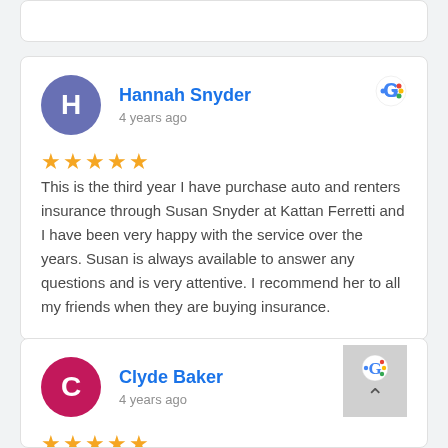Hannah Snyder
4 years ago
This is the third year I have purchase auto and renters insurance through Susan Snyder at Kattan Ferretti and I have been very happy with the service over the years. Susan is always available to answer any questions and is very attentive. I recommend her to all my friends when they are buying insurance.
Clyde Baker
4 years ago
Susan Snyder is Top Shelf in the insurance industry. Always friendly and helpful and goes